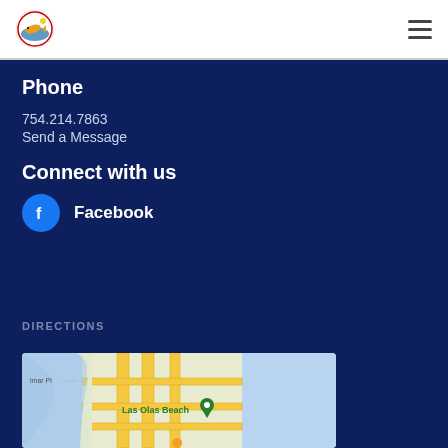[Figure (logo): Fishing charter company circular logo with fish and boat imagery]
Phone
754.214.7863
Send a Message
Connect with us
[Figure (logo): Facebook icon - blue circle with white f letter, followed by text 'Facebook']
DIRECTIONS
[Figure (map): Google Maps screenshot showing Las Olas Beach area in Fort Lauderdale with a location pin marker]